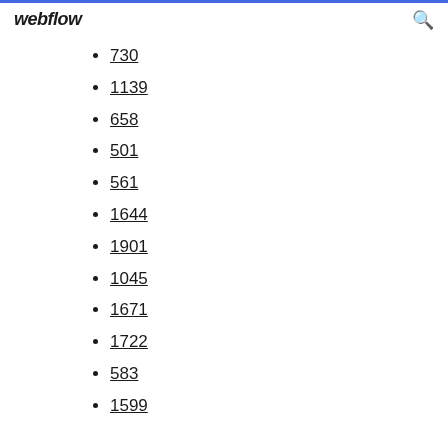webflow
730
1139
658
501
561
1644
1901
1045
1671
1722
583
1599